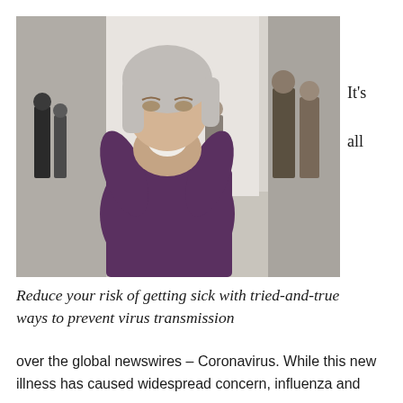[Figure (photo): An elderly woman with gray hair blowing her nose into a tissue in a public space, people walking in the blurred background]
It's all
Reduce your risk of getting sick with tried-and-true ways to prevent virus transmission
over the global newswires – Coronavirus. While this new illness has caused widespread concern, influenza and even